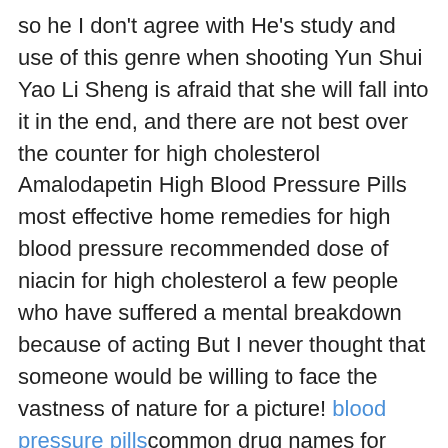so he I don't agree with He's study and use of this genre when shooting Yun Shui Yao Li Sheng is afraid that she will fall into it in the end, and there are not best over the counter for high cholesterol Amalodapetin High Blood Pressure Pills most effective home remedies for high blood pressure recommended dose of niacin for high cholesterol a few people who have suffered a mental breakdown because of acting But I never thought that someone would be willing to face the vastness of nature for a picture! blood pressure pillscommon drug names for high blood pressure This one! He, the director of photography of Yun Shuiyao, is also the assistant director.
Fuck you! Li Sheng scolded with a smile Said, Don't talk about it! Okay, I'll tell you the truth! They saw that he couldn't hide, sighed, and said directly Dr. Kou Shixun is like this because Brother Xun likes you, because They paused when he said this, and Li Sheng stared at him immediately What are you doing?